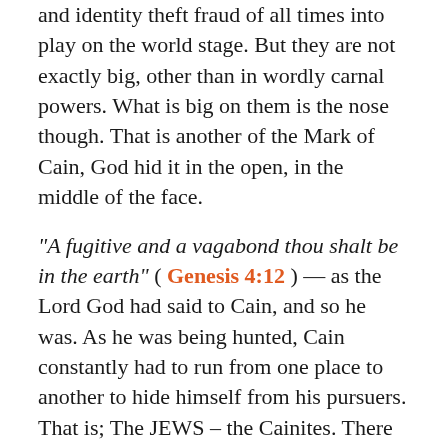and identity theft fraud of all times into play on the world stage. But they are not exactly big, other than in wordly carnal powers. What is big on them is the nose though. That is another of the Mark of Cain, God hid it in the open, in the middle of the face.
"A fugitive and a vagabond thou shalt be in the earth" ( Genesis 4:12 ) — as the Lord God had said to Cain, and so he was. As he was being hunted, Cain constantly had to run from one place to another to hide himself from his pursuers. That is; The JEWS – the Cainites. There is no other people on the face of the world this fits for during historic times.
"The purpose of the previous edition of this newsletter on Esau/Edom was to prove as best as we can that the people we call Jews today are not from the blood of the